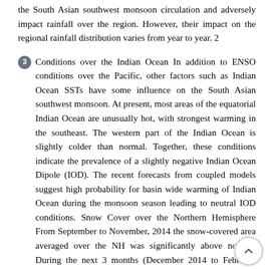the South Asian southwest monsoon circulation and adversely impact rainfall over the region. However, their impact on the regional rainfall distribution varies from year to year. 2
3 Conditions over the Indian Ocean In addition to ENSO conditions over the Pacific, other factors such as Indian Ocean SSTs have some influence on the South Asian southwest monsoon. At present, most areas of the equatorial Indian Ocean are unusually hot, with strongest warming in the southeast. The western part of the Indian Ocean is slightly colder than normal. Together, these conditions indicate the prevalence of a slightly negative Indian Ocean Dipole (IOD). The recent forecasts from coupled models suggest high probability for basin wide warming of Indian Ocean during the monsoon season leading to neutral IOD conditions. Snow Cover over the Northern Hemisphere From September to November, 2014 the snow-covered area averaged over the NH was significantly above normal. During the next 3 months (December 2014 to February 2015), it was more or less close to normal. In March, the snow-covered area